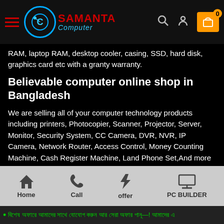Samanta Computer — navigation header with logo, search, user, and cart icons
RAM, laptop RAM, desktop cooler, casing, SSD, hard disk, graphics card etc with a granty warranty.
Believable computer online shop in Bangladesh
We are selling all of your computer technology products including printers, Photocopier, Scanner, Projector, Server, Monitor, Security System, CC Camera, DVR, NVR, IP Camera, Network Router, Access Control, Money Counting Machine, Cash Register Machine, Land Phone Set,And more selling IP Phone Set from famous brands including HP, Canon, Dell, Toshiba, Brother, Epson, Sharp, on Samanta computer.
Home | Call | offer | PC BUILDER — bottom navigation bar
• Ticker text in Bengali (green marquee bar)